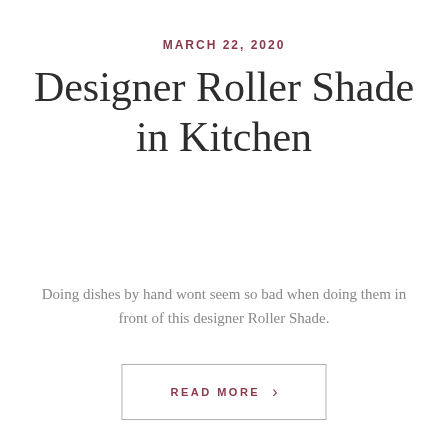MARCH 22, 2020
Designer Roller Shade in Kitchen
Doing dishes by hand wont seem so bad when doing them in front of this designer Roller Shade.
READ MORE ›